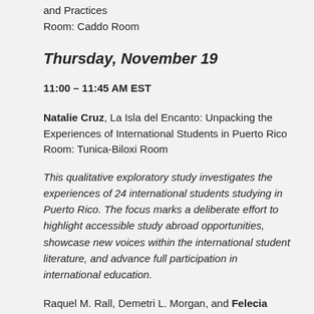and Practices
Room: Caddo Room
Thursday, November 19
11:00 – 11:45 AM EST
Natalie Cruz, La Isla del Encanto: Unpacking the Experiences of International Students in Puerto Rico
Room: Tunica-Biloxi Room
This qualitative exploratory study investigates the experiences of 24 international students studying in Puerto Rico. The focus marks a deliberate effort to highlight accessible study abroad opportunities, showcase new voices within the international student literature, and advance full participation in international education.
Raquel M. Rall, Demetri L. Morgan, and Felecia Commodore, Boards (Un)Bound: Advancing Full Participation in Higher Education Board Research